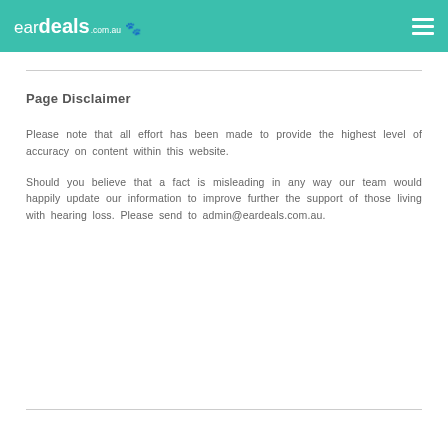eardeals.com.au
Page Disclaimer
Please note that all effort has been made to provide the highest level of accuracy on content within this website.
Should you believe that a fact is misleading in any way our team would happily update our information to improve further the support of those living with hearing loss. Please send to admin@eardeals.com.au.